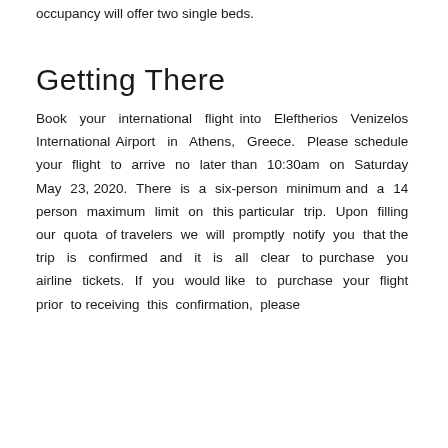occupancy will offer two single beds.
Getting There
Book your international flight into Eleftherios Venizelos International Airport in Athens, Greece. Please schedule your flight to arrive no later than 10:30am on Saturday May 23, 2020. There is a six-person minimum and a 14 person maximum limit on this particular trip. Upon filling our quota of travelers we will promptly notify you that the trip is confirmed and it is all clear to purchase you airline tickets. If you would like to purchase your flight prior to receiving this confirmation, please